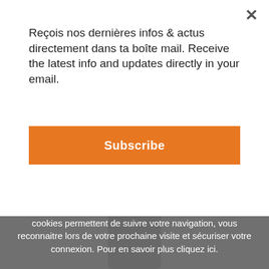Reçois nos dernières infos & actus directement dans ta boîte mail. Receive the latest info and updates directly in your email.
Subscribe
This is not the product you are looking for? Try these
En poursuivant votre navigation sur ce site, vous acceptez l'utilisation et l'écriture de cookies sur votre appareil. Ces cookies permettent de suivre votre navigation, vous reconnaitre lors de votre prochaine visite et sécuriser votre connexion. Pour en savoir plus cliquez ici.
close